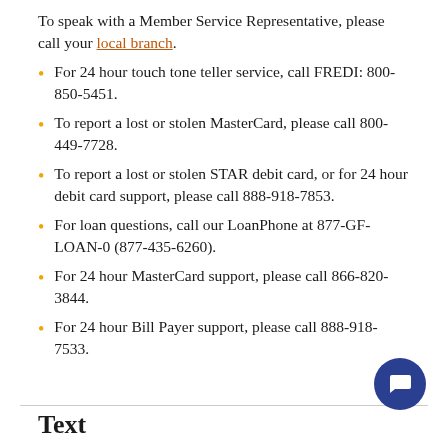To speak with a Member Service Representative, please call your local branch.
For 24 hour touch tone teller service, call FREDI: 800-850-5451.
To report a lost or stolen MasterCard, please call 800-449-7728.
To report a lost or stolen STAR debit card, or for 24 hour debit card support, please call 888-918-7853.
For loan questions, call our LoanPhone at 877-GF-LOAN-0 (877-435-6260).
For 24 hour MasterCard support, please call 866-820-3844.
For 24 hour Bill Payer support, please call 888-918-7533.
Text